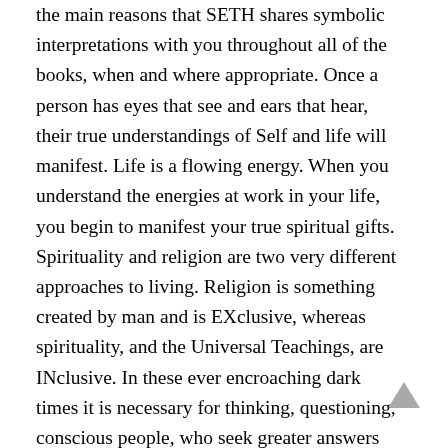the main reasons that SETH shares symbolic interpretations with you throughout all of the books, when and where appropriate. Once a person has eyes that see and ears that hear, their true understandings of Self and life will manifest. Life is a flowing energy. When you understand the energies at work in your life, you begin to manifest your true spiritual gifts. Spirituality and religion are two very different approaches to living. Religion is something created by man and is EXclusive, whereas spirituality, and the Universal Teachings, are INclusive. In these ever encroaching dark times it is necessary for thinking, questioning, conscious people, who seek greater answers and deeper truths, to understand the energies at work in their lives. Through that understanding, emotional control is achieved.